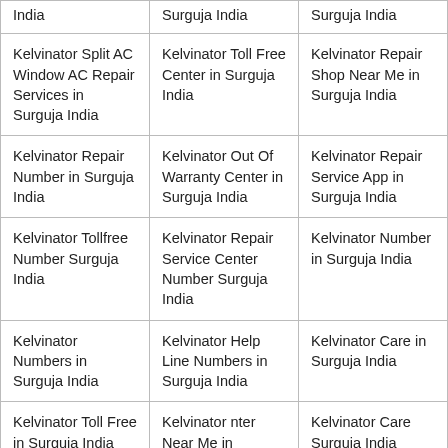| India | Surguja India | Surguja India |
| Kelvinator Split AC Window AC Repair Services in Surguja India | Kelvinator Toll Free Center in Surguja India | Kelvinator Repair Shop Near Me in Surguja India |
| Kelvinator Repair Number in Surguja India | Kelvinator Out Of Warranty Center in Surguja India | Kelvinator Repair Service App in Surguja India |
| Kelvinator Tollfree Number Surguja India | Kelvinator Repair Service Center Number Surguja India | Kelvinator Number in Surguja India |
| Kelvinator Numbers in Surguja India | Kelvinator Help Line Numbers in Surguja India | Kelvinator Care in Surguja India |
| Kelvinator Toll Free in Surguja India | Kelvinator nter Near Me in Surguja India | Kelvinator Care Surguja India |